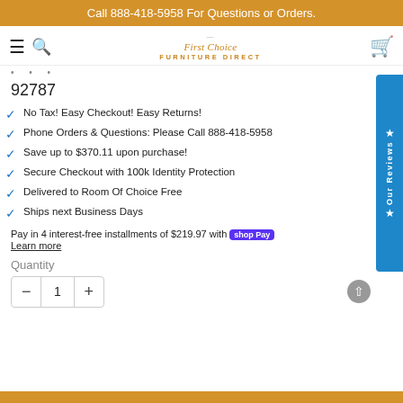Call 888-418-5958 For Questions or Orders.
[Figure (logo): First Choice Furniture Direct logo with hamburger menu, search icon, and cart icon in navigation bar]
92787
No Tax! Easy Checkout! Easy Returns!
Phone Orders & Questions: Please Call 888-418-5958
Save up to $370.11 upon purchase!
Secure Checkout with 100k Identity Protection
Delivered to Room Of Choice Free
Ships next Business Days
Pay in 4 interest-free installments of $219.97 with shop Pay
Learn more
Quantity
− 1 +